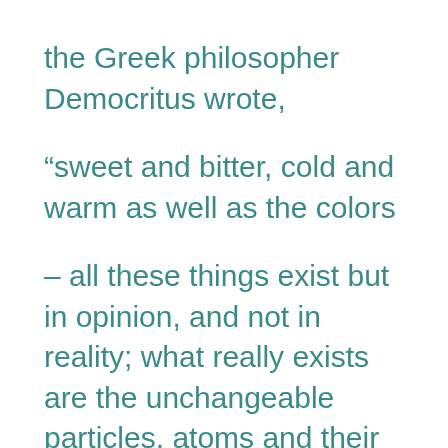the Greek philosopher Democritus wrote,
“sweet and bitter, cold and warm as well as the colors
– all these things exist but in opinion, and not in reality; what really exists are the unchangeable particles, atoms and their motion in empty space”. One of the most intriguing questions about the material world is, how does Prakriti (primordial form of matter) evolve in the world around us as we